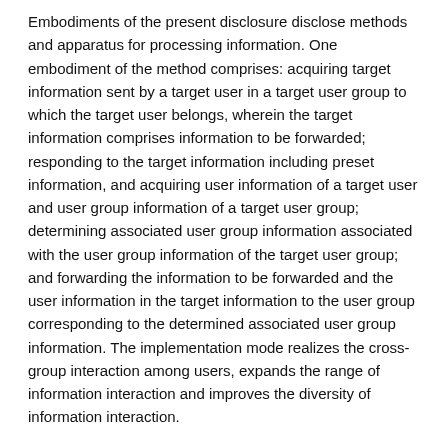Embodiments of the present disclosure disclose methods and apparatus for processing information. One embodiment of the method comprises: acquiring target information sent by a target user in a target user group to which the target user belongs, wherein the target information comprises information to be forwarded; responding to the target information including preset information, and acquiring user information of a target user and user group information of a target user group; determining associated user group information associated with the user group information of the target user group; and forwarding the information to be forwarded and the user information in the target information to the user group corresponding to the determined associated user group information. The implementation mode realizes the cross-group interaction among users, expands the range of information interaction and improves the diversity of information interaction.
Classifications
H04L51/52  User-to-user messaging in packet-